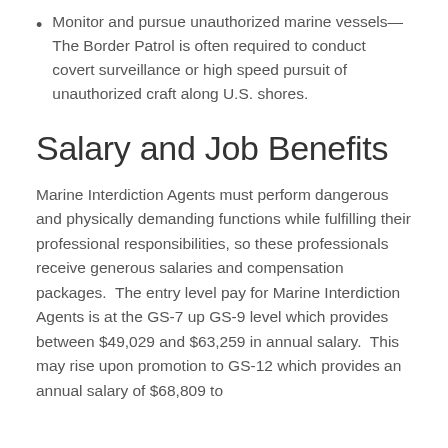Monitor and pursue unauthorized marine vessels—The Border Patrol is often required to conduct covert surveillance or high speed pursuit of unauthorized craft along U.S. shores.
Salary and Job Benefits
Marine Interdiction Agents must perform dangerous and physically demanding functions while fulfilling their professional responsibilities, so these professionals receive generous salaries and compensation packages.  The entry level pay for Marine Interdiction Agents is at the GS-7 up GS-9 level which provides between $49,029 and $63,259 in annual salary.  This may rise upon promotion to GS-12 which provides an annual salary of $68,809 to